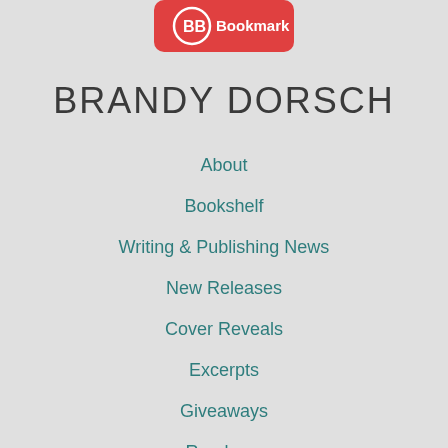[Figure (logo): BB Bookmark logo - red rounded rectangle with BB letters and 'Bookmark' text in white]
BRANDY DORSCH
About
Bookshelf
Writing & Publishing News
New Releases
Cover Reveals
Excerpts
Giveaways
Randoms